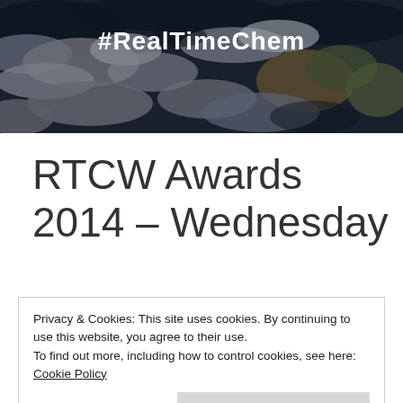[Figure (photo): Satellite aerial view of Earth surface showing clouds, land and ocean, dark tones]
#RealTimeChem
RTCW Awards 2014 – Wednesday
Privacy & Cookies: This site uses cookies. By continuing to use this website, you agree to their use.
To find out more, including how to control cookies, see here: Cookie Policy
Close and accept